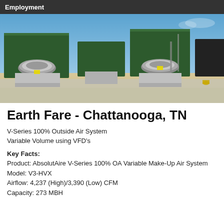Employment
[Figure (photo): Outdoor rooftop HVAC units — large dark green box-shaped air handlers with silver cylindrical fans and sheet-metal ductwork on a concrete pad, blue sky background.]
Earth Fare - Chattanooga, TN
V-Series 100% Outside Air System
Variable Volume using VFD's
Key Facts:
Product: AbsolutAire V-Series 100% OA Variable Make-Up Air System
Model: V3-HVX
Airflow: 4,237 (High)/3,390 (Low) CFM
Capacity: 273 MBH